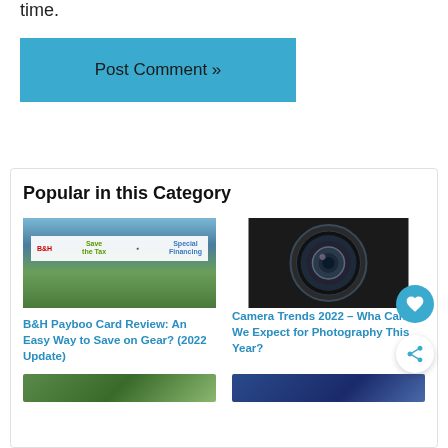time.
Post Comment »
Popular in this Category
[Figure (photo): B&H Payboo card advertisement with landscape scenic image below]
B&H Payboo Card Review: An Easy Way to Save on Gear? (2022 Update)
[Figure (photo): Close-up of a camera lens]
Camera Trends 2022 – What Can We Expect for Photography This Year?
[Figure (photo): Partial view of landscape photo card]
[Figure (photo): Partial view of blue card]